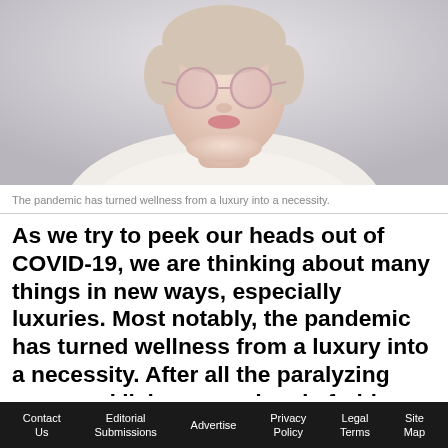[Figure (photo): A woman with light pink round glasses and a white sweater, photographed from roughly chin/neck up, in a light grey/white background. Wellness/lifestyle editorial image.]
The pandemic has turned wellness from a luxury into a necessity.
As we try to peek our heads out of COVID-19, we are thinking about many things in new ways, especially luxuries. Most notably, the pandemic has turned wellness from a luxury into a necessity. After all the paralyzing news and living scared and afraid, feeling safe is a luxury. A deep breath is a luxury. And so is happiness. Today, everyone is a wellness champion and
Contact Us    Editorial Submissions    Advertise    Privacy Policy    Legal Terms    Site Map